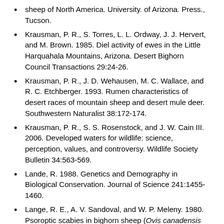sheep of North America. University. of Arizona. Press., Tucson.
Krausman, P. R., S. Torres, L. L. Ordway, J. J. Hervert, and M. Brown. 1985. Diel activity of ewes in the Little Harquahala Mountains, Arizona. Desert Bighorn Council Transactions 29:24-26.
Krausman, P. R., J. D. Wehausen, M. C. Wallace, and R. C. Etchberger. 1993. Rumen characteristics of desert races of mountain sheep and desert mule deer. Southwestern Naturalist 38:172-174.
Krausman, P. R., S. S. Rosenstock, and J. W. Cain III. 2006. Developed waters for wildlife: science, perception, values, and controversy. Wildlife Society Bulletin 34:563-569.
Lande, R. 1988. Genetics and Demography in Biological Conservation. Journal of Science 241:1455-1460.
Lange, R. E., A. V. Sandoval, and W. P. Meleny. 1980. Psoroptic scabies in bighorn sheep (Ovis canadensis mexicana) in New Mexico. Journal of Wildlife Diseases 16:77-82.